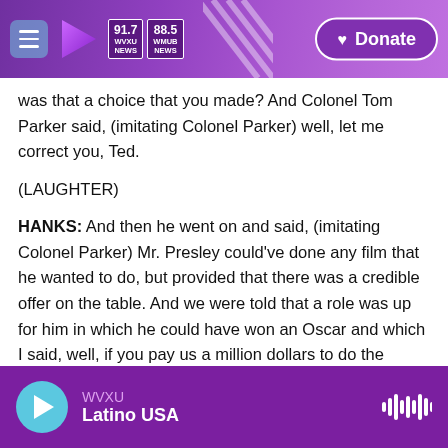91.7 WVXU NEWS | 88.5 WMUB NEWS | Donate
was that a choice that you made? And Colonel Tom Parker said, (imitating Colonel Parker) well, let me correct you, Ted.
(LAUGHTER)
HANKS: And then he went on and said, (imitating Colonel Parker) Mr. Presley could've done any film that he wanted to do, but provided that there was a credible offer on the table. And we were told that a role was up for him in which he could have won an Oscar and which I said, well, if you pay us a million dollars to do the movie, when Elvis wins the Oscar, we will give the money back.
WVXU | Latino USA